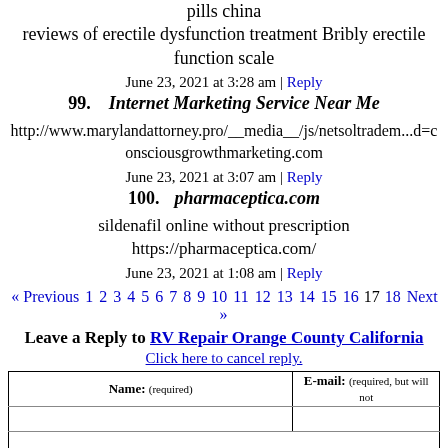pills china
reviews of erectile dysfunction treatment Bribly erectile function scale
June 23, 2021 at 3:28 am | Reply
99. Internet Marketing Service Near Me
http://www.marylandattorney.pro/__media__/js/netsoltrademark...d=consciousgrowthmarketing.com
June 23, 2021 at 3:07 am | Reply
100. pharmaceptica.com
sildenafil online without prescription
https://pharmaceptica.com/
June 23, 2021 at 1:08 am | Reply
« Previous 1 2 3 4 5 6 7 8 9 10 11 12 13 14 15 16 17 18 Next »
Leave a Reply to RV Repair Orange County California
Click here to cancel reply.
| Name: (required) | E-mail: (required, but will not...) |
| --- | --- |
|  |  |